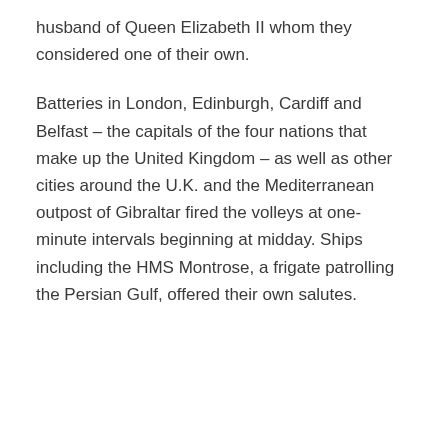husband of Queen Elizabeth II whom they considered one of their own.
Batteries in London, Edinburgh, Cardiff and Belfast – the capitals of the four nations that make up the United Kingdom – as well as other cities around the U.K. and the Mediterranean outpost of Gibraltar fired the volleys at one-minute intervals beginning at midday. Ships including the HMS Montrose, a frigate patrolling the Persian Gulf, offered their own salutes.